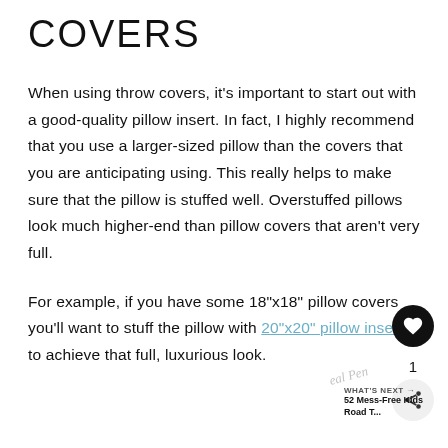COVERS
When using throw covers, it's important to start out with a good-quality pillow insert. In fact, I highly recommend that you use a larger-sized pillow than the covers that you are anticipating using. This really helps to make sure that the pillow is stuffed well. Overstuffed pillows look much higher-end than pillow covers that aren't very full.
For example, if you have some 18"x18" pillow covers you'll want to stuff the pillow with 20"x20" pillow inserts to achieve that full, luxurious look.